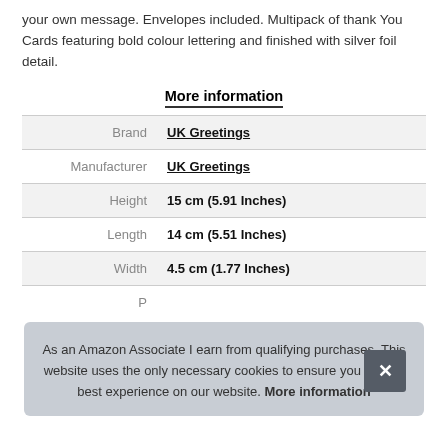your own message. Envelopes included. Multipack of thank You Cards featuring bold colour lettering and finished with silver foil detail.
More information
|  |  |
| --- | --- |
| Brand | UK Greetings |
| Manufacturer | UK Greetings |
| Height | 15 cm (5.91 Inches) |
| Length | 14 cm (5.51 Inches) |
| Width | 4.5 cm (1.77 Inches) |
| P |  |
As an Amazon Associate I earn from qualifying purchases. This website uses the only necessary cookies to ensure you get the best experience on our website. More information